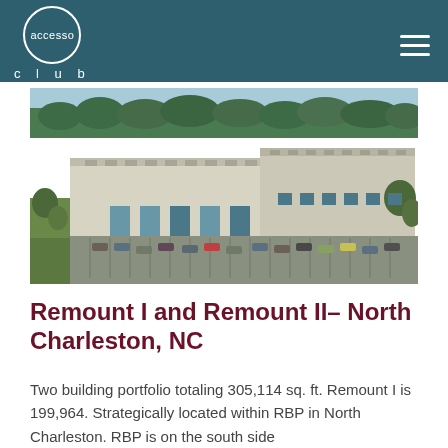accesso club
[Figure (photo): Aerial view of a large industrial/commercial warehouse complex with parking lots, surrounded by trees and green space in North Charleston, NC.]
Remount I and Remount II– North Charleston, NC
Two building portfolio totaling 305,114 sq. ft. Remount I is 199,964. Strategically located within RBP in North Charleston. RBP is on the south side